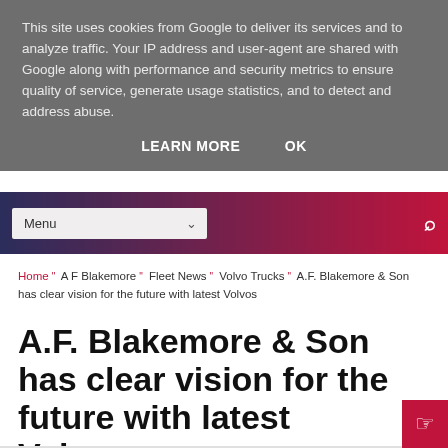This site uses cookies from Google to deliver its services and to analyze traffic. Your IP address and user-agent are shared with Google along with performance and security metrics to ensure quality of service, generate usage statistics, and to detect and address abuse.
LEARN MORE   OK
Menu  [search icon]
Home × A F Blakemore × Fleet News × Volvo Trucks × A.F. Blakemore & Son has clear vision for the future with latest Volvos
A.F. Blakemore & Son has clear vision for the future with latest Volvos